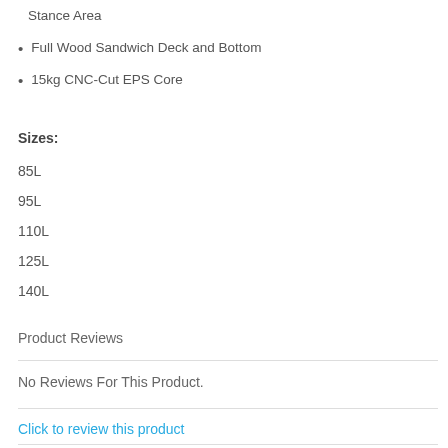Stance Area
Full Wood Sandwich Deck and Bottom
15kg CNC-Cut EPS Core
Sizes:
85L
95L
110L
125L
140L
Product Reviews
No Reviews For This Product.
Click to review this product